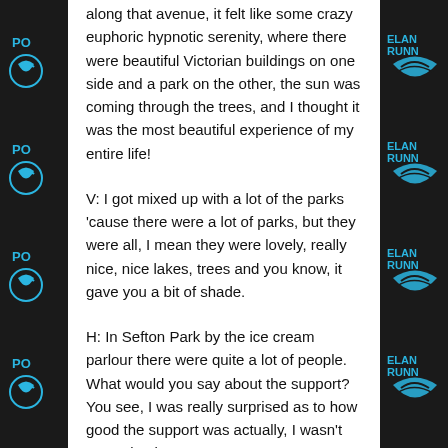along that avenue, it felt like some crazy euphoric hypnotic serenity, where there were beautiful Victorian buildings on one side and a park on the other, the sun was coming through the trees, and I thought it was the most beautiful experience of my entire life!
V: I got mixed up with a lot of the parks 'cause there were a lot of parks, but they were all, I mean they were lovely, really nice, nice lakes, trees and you know, it gave you a bit of shade.
H: In Sefton Park by the ice cream parlour there were quite a lot of people.  What would you say about the support? You see, I was really surprised as to how good the support was actually, I wasn't expecting it.
V: I think it was quite good because it went through parks and things like that, so people were out in the parks anyway, and they could just kind of stop their daily business and cheer you on, but there were a lot of people who had come out specifically to support. There were